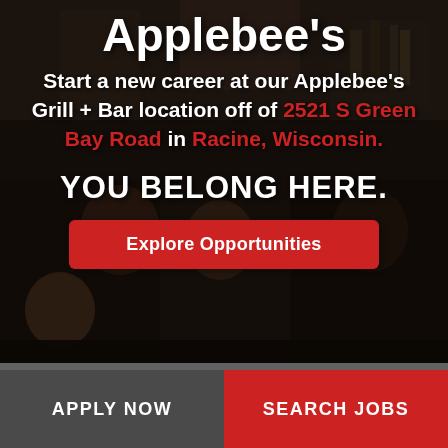Applebee's
Start a new career at our Applebee's Grill + Bar location off of 2521 S Green Bay Road in Racine, Wisconsin.
YOU BELONG HERE.
Explore Opportunities
APPLY NOW
SEARCH JOBS